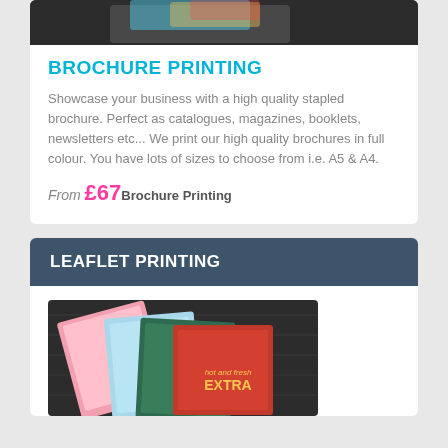[Figure (photo): Top portion of brochure product photo on dark wood background with colorful printed brochures]
BROCHURE PRINTING
Showcase your business with a high quality stapled brochure. Perfect as catalogues, magazines, booklets, newsletters etc... We print our high quality brochures in full colour. You have lots of sizes to choose from i.e. A5 & A4.
From £67 Brochure Printing
LEAFLET PRINTING
[Figure (photo): Leaflet product photo on dark wood background showing colorful printed leaflets including a red one with 'hot and fresh EXTRA' text]